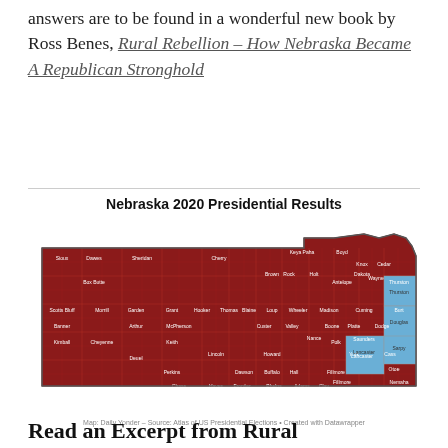answers are to be found in a wonderful new book by Ross Benes, Rural Rebellion – How Nebraska Became A Republican Stronghold
[Figure (map): Nebraska 2020 Presidential Results county-level map. Nearly all counties shaded dark red (Republican), with a few counties shaded blue (Democratic) in the eastern part of the state including Lancaster, Sarpy/Douglas area, and Thurston county. Map credit: Daily Yonder - Source: Atlas of US Presidential Elections • Created with Datawrapper]
Map: Daily Yonder – Source: Atlas of US Presidential Elections • Created with Datawrapper
Read an Excerpt from Rural